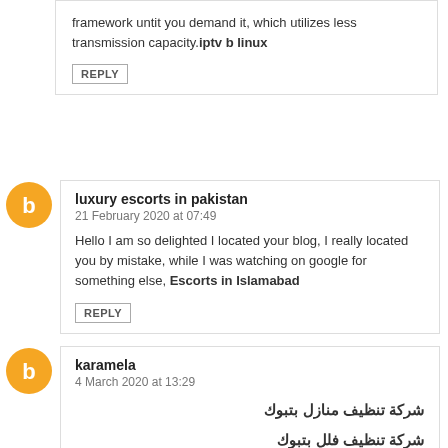framework untit you demand it, which utilizes less transmission capacity.iptv b linux
REPLY
luxury escorts in pakistan
21 February 2020 at 07:49
Hello I am so delighted I located your blog, I really located you by mistake, while I was watching on google for something else, Escorts in Islamabad
REPLY
karamela
4 March 2020 at 13:29
شركة تنظيف منازل بتبوك
شركة تنظيف فلل بتبوك
شركة تنظيف شقق بتبوك
شركة تنظيف خزانات بتبوك